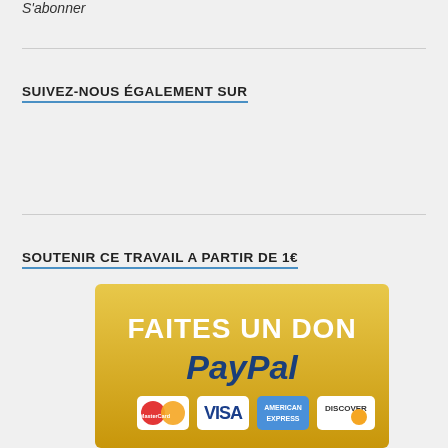S'abonner
SUIVEZ-NOUS ÉGALEMENT SUR
SOUTENIR CE TRAVAIL A PARTIR DE 1€
[Figure (illustration): PayPal donation button graphic with golden background, text 'FAITES UN DON' and 'PayPal' logo, with MasterCard, Visa, American Express, and Discover card icons below]